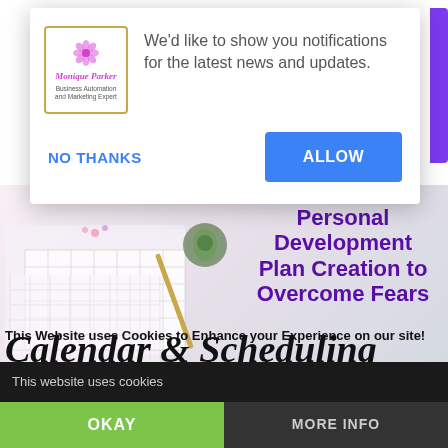[Figure (screenshot): Browser notification permission popup with logo 'Monique Parker - Business Automation and Marketing Expert', text 'We'd like to show you notifications for the latest news and updates.', NO THANKS and ALLOW buttons]
[Figure (photo): Hero image with desk/planning items (calendar grids, succulents, pencils) and overlaid bold purple text 'Personal Development Plan Creation to Overcome Fears']
Calendar & Scheduling Apps
This Website uses Cookies to Enhance your Experience on our site!
This website uses cookies